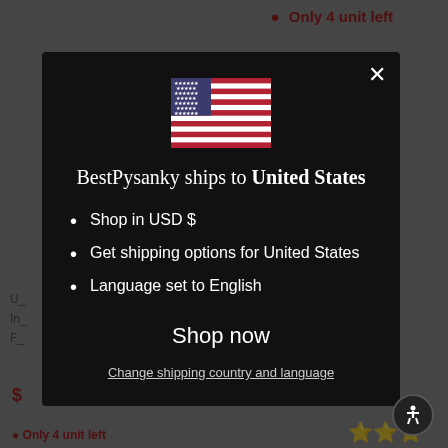• Only 4 unit left
[Figure (screenshot): Modal dialog on BestPysanky website showing US flag and shipping information for United States]
BestPysanky ships to United States
Shop in USD $
Get shipping options for United States
Language set to English
Shop now
Change shipping country and language